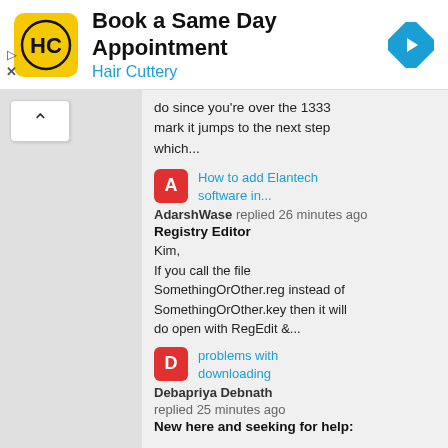[Figure (screenshot): Hair Cuttery advertisement banner with logo, title 'Book a Same Day Appointment', subtitle 'Hair Cuttery', navigation arrow icon, and ad controls]
do since you're over the 1333 mark it jumps to the next step which...
[Figure (screenshot): Reply avatar with letter A (red background)]
How to add Elantech software in...
AdarshWase replied 26 minutes ago
Registry Editor
Kim,
If you call the file SomethingOrOther.reg instead of SomethingOrOther.key then it will do open with RegEdit &...
[Figure (screenshot): Reply avatar with letter D (red background)]
problems with downloading
Debapriya Debnath replied 25 minutes ago
New here and seeking for help: